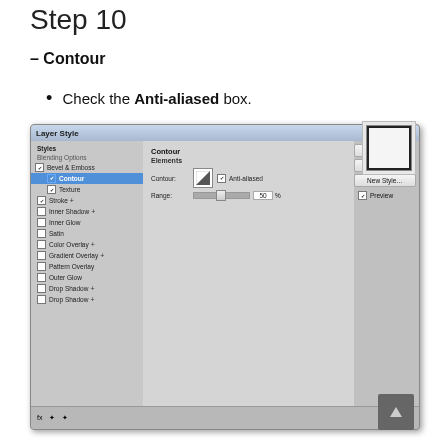Step 10
– Contour
Check the Anti-aliased box.
[Figure (screenshot): Photoshop Layer Style dialog showing Contour sub-option selected under Bevel & Emboss. The Contour Elements panel shows Contour thumbnail, Anti-aliased checkbox checked, and Range set to 50%.]